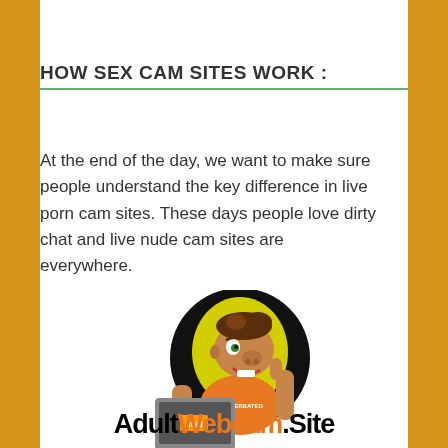HOW SEX CAM SITES WORK :
At the end of the day, we want to make sure people understand the key difference in live porn cam sites. These days people love dirty chat and live nude cam sites are everywhere.
[Figure (illustration): Cartoon mascot of a young man holding a laptop with 'AWS' on it, wearing an orange shirt, giving thumbs up, inside a black circle with yellow background glow. Below is the AdultWebcam.Site logo text.]